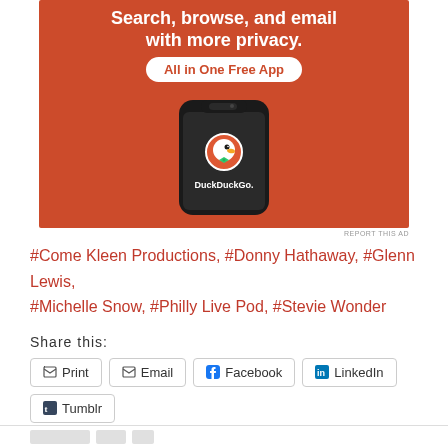[Figure (illustration): DuckDuckGo advertisement banner showing a smartphone with DuckDuckGo logo on an orange background with text: Search, browse, and email with more privacy. All in One Free App]
REPORT THIS AD
#Come Kleen Productions, #Donny Hathaway, #Glenn Lewis, #Michelle Snow, #Philly Live Pod, #Stevie Wonder
Share this:
Print
Email
Facebook
LinkedIn
Tumblr
Twitter
WhatsApp